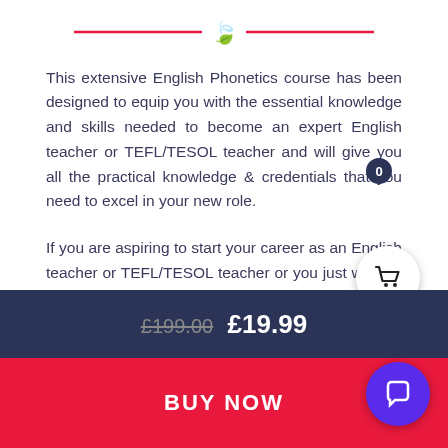[Figure (illustration): Decorative divider with a leaf icon and two horizontal red lines flanking it]
This extensive English Phonetics course has been designed to equip you with the essential knowledge and skills needed to become an expert English teacher or TEFL/TESOL teacher and will give you all the practical knowledge & credentials that you need to excel in your new role.
If you are aspiring to start your career as an English teacher or TEFL/TESOL teacher or you just want to boost your knowledge and skills on English phonetics and phonology, but don't k...
£199.00 £19.99
BUY NOW